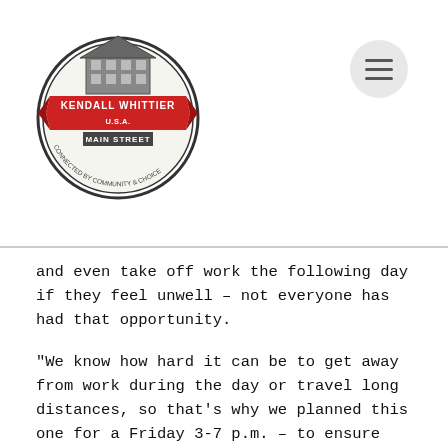[Figure (logo): Kendall Whittier Main Street logo — circular emblem with red banner ribbon reading 'KENDALL WHITTIER' and 'MAIN STREET', with a building illustration and text 'CONNECTED BY COMMUNITY & CHOICE']
and even take off work the following day if they feel unwell – not everyone has had that opportunity.
“We know how hard it can be to get away from work during the day or travel long distances, so that’s why we planned this one for a Friday 3-7 p.m. – to ensure that all have the opportunity to get vaccinated and, hopefully, have a day or two of rest after,” Alison said.
Vaccinations are free, however, insured individuals should bring a copy of their insurance card. Uninsured individuals can provide a drivers’ license number, a state identification number or a social security number, if possible.